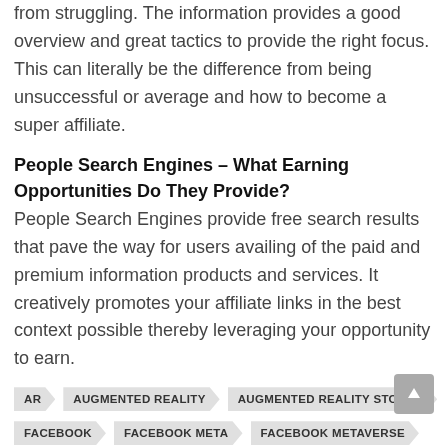from struggling. The information provides a good overview and great tactics to provide the right focus. This can literally be the difference from being unsuccessful or average and how to become a super affiliate.
People Search Engines – What Earning Opportunities Do They Provide?
People Search Engines provide free search results that pave the way for users availing of the paid and premium information products and services. It creatively promotes your affiliate links in the best context possible thereby leveraging your opportunity to earn.
AR
AUGMENTED REALITY
AUGMENTED REALITY STOCKS
FACEBOOK
FACEBOOK META
FACEBOOK METAVERSE
FB STOCK
HOW TO INVEST IN THE METAVERSE